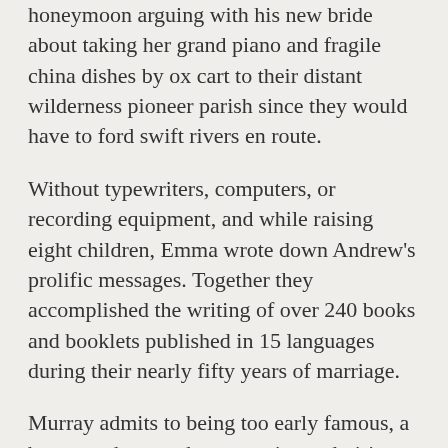honeymoon arguing with his new bride about taking her grand piano and fragile china dishes by ox cart to their distant wilderness pioneer parish since they would have to ford swift rivers en route.
Without typewriters, computers, or recording equipment, and while raising eight children, Emma wrote down Andrew's prolific messages. Together they accomplished the writing of over 240 books and booklets published in 15 languages during their nearly fifty years of marriage.
Murray admits to being too early famous, a boy preacher to whose meetings admiring crowds flocked, with conversions at every evangelistic service. As God matured this servant of God, he was eager to share the truths he found with his